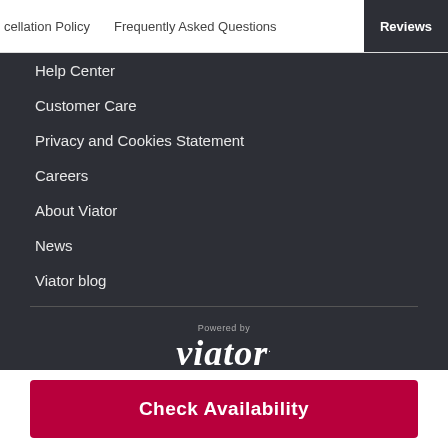cellation Policy   Frequently Asked Questions   Reviews
Help Center
Customer Care
Privacy and Cookies Statement
Careers
About Viator
News
Viator blog
[Figure (logo): Powered by viator logo]
© 1997–2022 Viator, Inc.
Check Availability